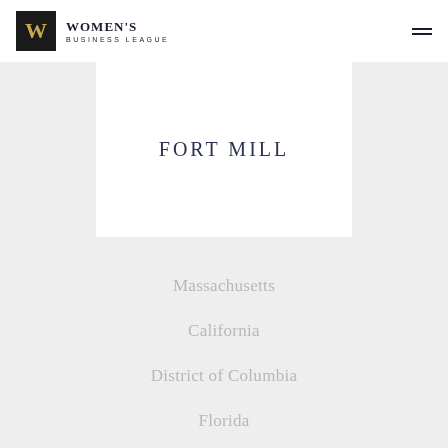WOMEN'S BUSINESS LEAGUE
FORT MILL
Massachusetts
California
District of Columbia
Florida